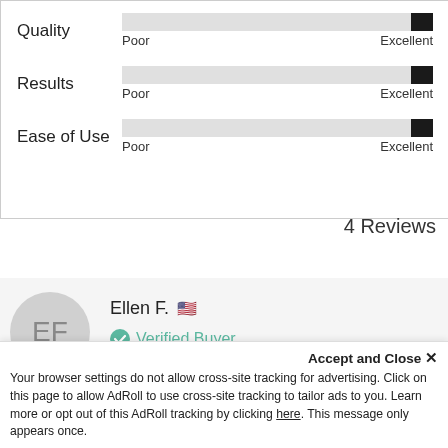[Figure (bar-chart): Rating bars]
4 Reviews
Ellen F. 🇺🇸 Verified Buyer
Accept and Close ✕ Your browser settings do not allow cross-site tracking for advertising. Click on this page to allow AdRoll to use cross-site tracking to tailor ads to you. Learn more or opt out of this AdRoll tracking by clicking here. This message only appears once.